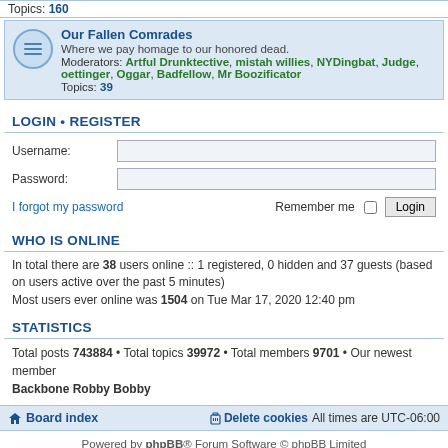Topics: 160
Our Fallen Comrades — Where we pay homage to our honored dead. Moderators: Artful Drunktective, mistah willies, NYDingbat, Judge, oettinger, Oggar, Badfellow, Mr Boozificator. Topics: 39
LOGIN • REGISTER
Username:
Password:
I forgot my password — Remember me — Login
WHO IS ONLINE
In total there are 38 users online :: 1 registered, 0 hidden and 37 guests (based on users active over the past 5 minutes)
Most users ever online was 1504 on Tue Mar 17, 2020 12:40 pm
STATISTICS
Total posts 743884 • Total topics 39972 • Total members 9701 • Our newest member Backbone Robby Bobby
Board index | Delete cookies | All times are UTC-06:00
Powered by phpBB® Forum Software © phpBB Limited
Privacy | Terms